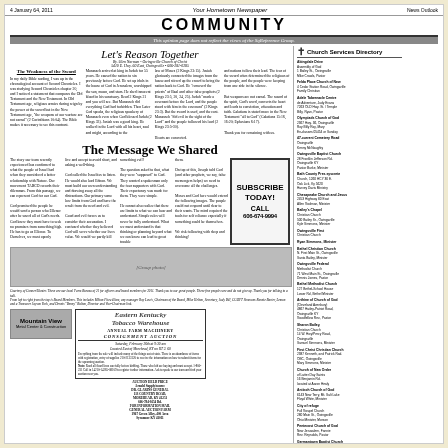4 January 64, 2011 | Your Hometown Newspaper | News Outlook
COMMUNITY
This opinion page does not reflect the views of the SqReference Group.
Let's Reason Together
By Allen Norman - Owingsville Church of Christ
5410 E. Hwy. 60 East, Owingsville • 606-281-0285
The Weakness of the Sword
Article text about biblical reasoning and scripture references including 2 Kings 10:15, Judah, and related passages.
The Message We Shared
Article text about a message shared and God's expectations, referencing church outreach and community ministry.
[Figure (photo): Group photo of church board members or community leaders]
Courtesy of Conner/Hunter. These are our local Farm Bureau of 21 for officers and board members for 2011. Thank you to our great people. These fine people care and do not give up. Thank you for talking to a talk.
From left to right from the top is Board Members. This includes Milton Fitzwilliam, any manager Roy Lewis, Chairman of the Board, Mike Helton, Secretary, Judy Bill, CGOFT Simmons Ronnie Barter, Lemon and a Treasurer Jayson York, and Dennis "Benny" Bolton, Director and Vice-Chairman link.
[Figure (photo): Mountain View Metal Center advertisement image]
Mountain View Metal Center & Construction advertisement
[Figure (advertisement): Eastern Kentucky Tobacco Warehouse Annual Farm Machinery Consignment Auction advertisement - Saturday February 26th at 9:30 am Located East of Morehead, KY on RT 2. 60]
Church Services Directory
Abingdale Drive Assembly of God, 1 Bailey St., Owingsville, Mike Crawls, Pastor
Adele Tabernacle Church of Adventure, Judy Evans, Olivia St.
47-current Cemetery Road, Owingsville, Kenny McNaughty
Bath County Pres.syscrete Church, 1260 HCY 36 E, 13 Oak Lick, Ky 5620, Harvey Davis, Ministry
Bailey's Chapel, Christian Church, 500 Bailey Sr, Owingsville, Kyle Simmons, Minister
Bethel Christian Church, 410 Bethel Ridge Road Bethel, Rev. Richard Anderson
Bethel Methodist Church, 127 Bethel-School House, Bethel
Sharron Bailey, Christian Church, 14 W. Hwy/Percy Road, Owingsville, Samuel Simmons, Minister
Church of New Order of Latter Day Saints, 16 Benjamin Rd., located at Aaron Healy
City of refuge Full Gospel Church, 280 Main St., Owingsville, Ohio Minister, Morson
Germantown Baptist Church, 47 Bethel Church Road, Jayson Minor, Minister
Raw Fort Church of God, 448 Ford Folk Ford, D.G. Barrow, Minister
Familiar Christian Church, 4864 Railroad Hwy. 17, Owingsville, Damon Miller, Minister
Final Chapel Church, 30 Waite Street Owingsville, Dr. Lara Wyse, Minister
Grace Chapel International, 44 Mongomery Street, Owingsville, Mike Aberdeen, Minister
Greater First Baptist Church, 1.0 Montgomery St., Owingsville, Gary L. Walters, Pastor
Delivers Community Church 2000, 206 10 Sacred Road, Nik Lake
Female Johnson, Minister
Acadel Springs Church of Christ, 122 Masonic Temple Lane, Owingsville, Faula Emily, Pastor
Absolutes Community, 36 Carrs Lake Life Rd., Port Lois, Eve Table Direction, Pastor
Attached First Church of God, 1267 Straight Fork Road, Nik Lake, Black Anniversary, Pastor
Milena's Farm Consolidating, Ohio Masonic Cherry Rd. Nik and Amanda County, Minister
Morning Star Baptist Church, 137 Montgomery Street, Nik Lake, Eav Rog, Minister